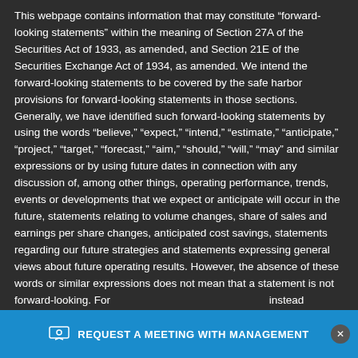This webpage contains information that may constitute “forward-looking statements” within the meaning of Section 27A of the Securities Act of 1933, as amended, and Section 21E of the Securities Exchange Act of 1934, as amended. We intend the forward-looking statements to be covered by the safe harbor provisions for forward-looking statements in those sections. Generally, we have identified such forward-looking statements by using the words “believe,” “expect,” “intend,” “estimate,” “anticipate,” “project,” “target,” “forecast,” “aim,” “should,” “will,” “may” and similar expressions or by using future dates in connection with any discussion of, among other things, operating performance, trends, events or developments that we expect or anticipate will occur in the future, statements relating to volume changes, share of sales and earnings per share changes, anticipated cost savings, statements regarding our future strategies and statements expressing general views about future operating results. However, the absence of these words or similar expressions does not mean that a statement is not forward-looking. For… instead rep… events, many of which, by their nature, are inherently uncertain
[Figure (other): Blue banner with text REQUEST A MEETING WITH MANAGEMENT and a close (X) button on the right]